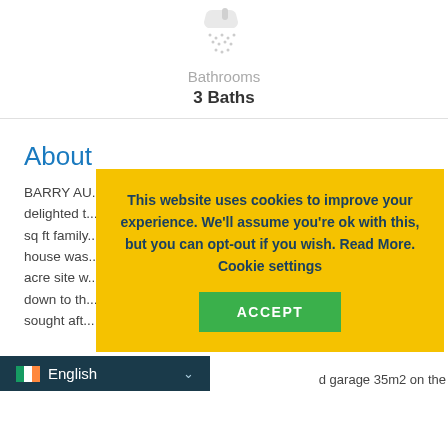[Figure (illustration): Shower/bathroom icon in light gray]
Bathrooms
3 Baths
About
BARRY AU... delighted ... sq ft family ... house was ... acre site w... down to th... sought aft... d garage 35m2 on the
This website uses cookies to improve your experience. We'll assume you're ok with this, but you can opt-out if you wish. Read More. Cookie settings
ACCEPT
English